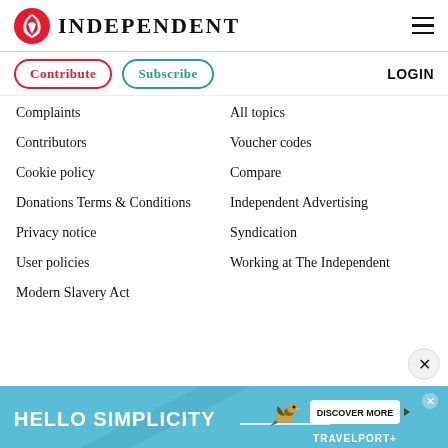INDEPENDENT
Contribute
Subscribe
LOGIN
Complaints
All topics
Contributors
Voucher codes
Cookie policy
Compare
Donations Terms & Conditions
Independent Advertising
Privacy notice
Syndication
User policies
Working at The Independent
Modern Slavery Act
[Figure (infographic): HELLO SIMPLICITY advertisement banner for Travelport with a bird illustration and DISCOVER MORE button]